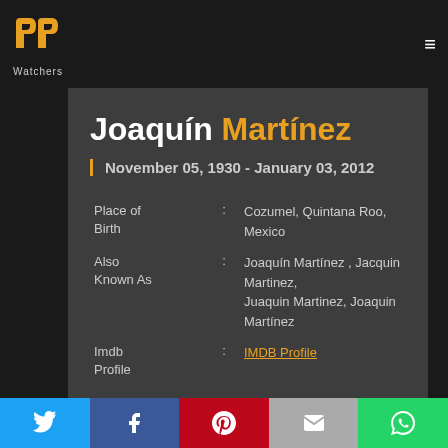PP Watchers logo and navigation
Joaquín Martínez
November 05, 1930 - January 03, 2012
| Field | : | Value |
| --- | --- | --- |
| Place of Birth | : | Cozumel, Quintana Roo, Mexico |
| Also Known As | : | Joaquín Martínez , Jacquin Martinez, Juaquin Martinez, Joaquin Martínez |
| Imdb Profile | : | IMDB Profile |
Twitter Facebook Pinterest Email WhatsApp